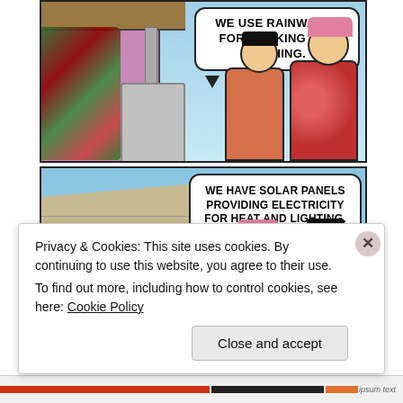[Figure (illustration): Comic strip panel 1: Two cartoon women stand outside a house with a rainwater collection barrel. Speech bubble reads: WE USE RAINWATER FOR COOKING AND BATHING.]
[Figure (illustration): Comic strip panel 2: Two cartoon women look up at solar panels on a roof. Speech bubble reads: WE HAVE SOLAR PANELS PROVIDING ELECTRICITY FOR HEAT AND LIGHTING.]
Privacy & Cookies: This site uses cookies. By continuing to use this website, you agree to their use.
To find out more, including how to control cookies, see here: Cookie Policy
Close and accept